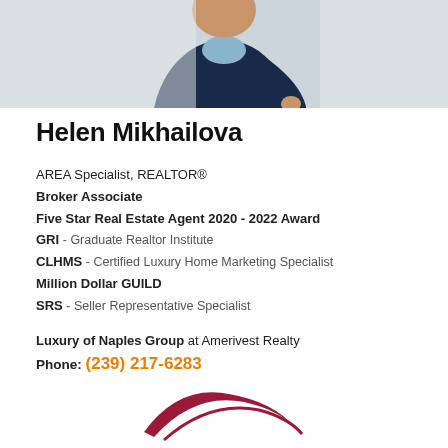[Figure (photo): Photo of Helen Mikhailova, a woman in a dark navy outfit, cropped showing upper body, against a light background.]
Helen Mikhailova
AREA Specialist, REALTOR®
Broker Associate
Five Star Real Estate Agent 2020 - 2022 Award
GRI - Graduate Realtor Institute
CLHMS - Certified Luxury Home Marketing Specialist
Million Dollar GUILD
SRS - Seller Representative Specialist
Luxury of Naples Group at Amerivest Realty
Phone: (239) 217-6283
[Figure (logo): Partial logo at the bottom of the page, red/maroon swoosh shape.]